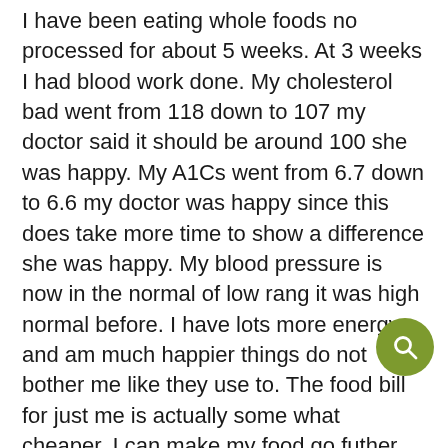I have been eating whole foods no processed for about 5 weeks. At 3 weeks I had blood work done. My cholesterol bad went from 118 down to 107 my doctor said it should be around 100 she was happy. My A1Cs went from 6.7 down to 6.6 my doctor was happy since this does take more time to show a difference she was happy. My blood pressure is now in the normal of low rang it was high normal before. I have lots more energy and am much happier things do not bother me like they use to. The food bill for just me is actually some what cheaper. I can make my food go futher do to I do not eat as much. I do have more choices and the flavor is much better. It has taken me a long time get to this way of eating. I started with the whole foods that I liked and have added more each week until I have weaned the processed foods out. I do